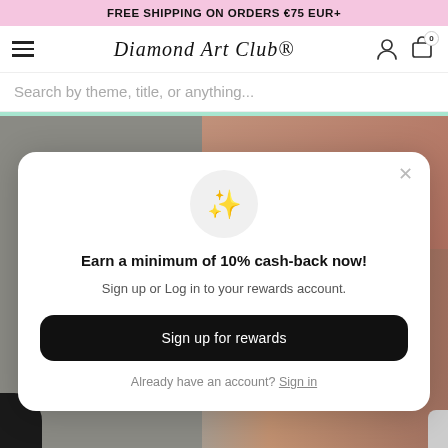FREE SHIPPING ON ORDERS €75 EUR+
Diamond Art Club
Search by theme, title, or anything...
20% OFF SITEWIDE WITH CODE SUMMER20 😎
[Figure (screenshot): Background photo showing hands/products, partially visible behind modal]
Earn a minimum of 10% cash-back now!
Sign up or Log in to your rewards account.
Sign up for rewards
Already have an account? Sign in